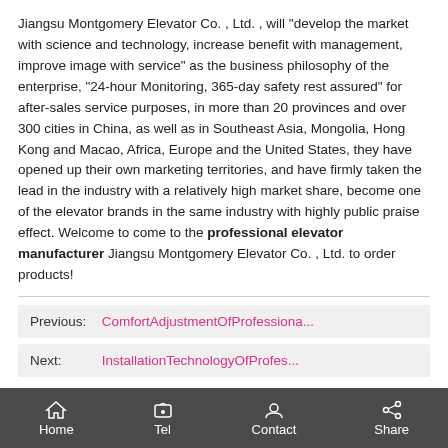Jiangsu Montgomery Elevator Co. , Ltd. , will "develop the market with science and technology, increase benefit with management, improve image with service" as the business philosophy of the enterprise, "24-hour Monitoring, 365-day safety rest assured" for after-sales service purposes, in more than 20 provinces and over 300 cities in China, as well as in Southeast Asia, Mongolia, Hong Kong and Macao, Africa, Europe and the United States, they have opened up their own marketing territories, and have firmly taken the lead in the industry with a relatively high market share, become one of the elevator brands in the same industry with highly public praise effect. Welcome to come to the professional elevator manufacturer Jiangsu Montgomery Elevator Co. , Ltd. to order products!
Previous: ComfortAdjustmentOfProfessiona...
Next: InstallationTechnologyOfProfes...
Home  Tel  Contact  Share